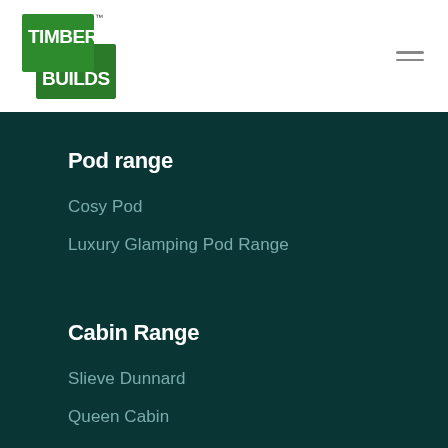[Figure (logo): Timber Builds logo — two overlapping green rectangles with white bold text 'TIMBER' and 'BUILDS', with a small TM superscript]
Pod range
Cosy Pod
Luxury Glamping Pod Range
Cabin Range
Slieve Dunnard
Queen Cabin
King Cabin